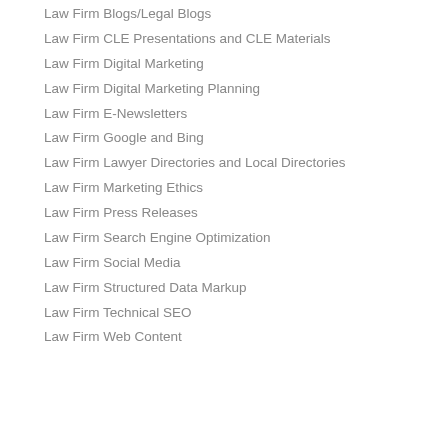Law Firm Blogs/Legal Blogs
Law Firm CLE Presentations and CLE Materials
Law Firm Digital Marketing
Law Firm Digital Marketing Planning
Law Firm E-Newsletters
Law Firm Google and Bing
Law Firm Lawyer Directories and Local Directories
Law Firm Marketing Ethics
Law Firm Press Releases
Law Firm Search Engine Optimization
Law Firm Social Media
Law Firm Structured Data Markup
Law Firm Technical SEO
Law Firm Web Content